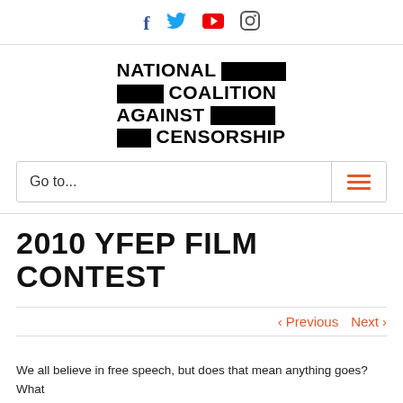Social media icons: Facebook, Twitter, YouTube, Instagram
[Figure (logo): National Coalition Against Censorship logo with black text and black rectangular bars]
Go to...
2010 YFEP FILM CONTEST
< Previous   Next >
We all believe in free speech, but does that mean anything goes? What